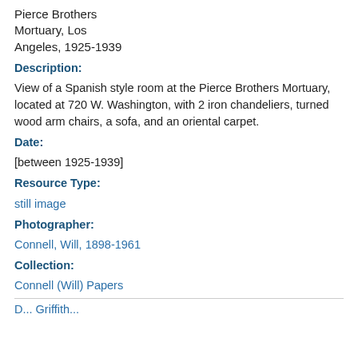Pierce Brothers Mortuary, Los Angeles, 1925-1939
Description:
View of a Spanish style room at the Pierce Brothers Mortuary, located at 720 W. Washington, with 2 iron chandeliers, turned wood arm chairs, a sofa, and an oriental carpet.
Date:
[between 1925-1939]
Resource Type:
still image
Photographer:
Connell, Will, 1898-1961
Collection:
Connell (Will) Papers